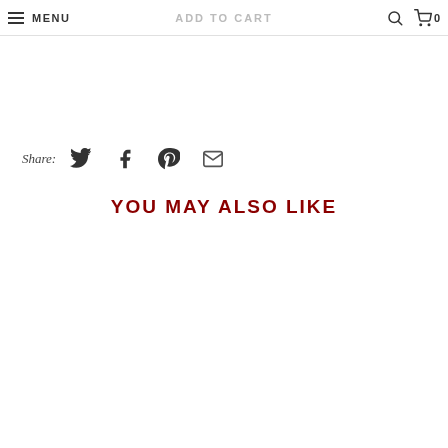MENU  ADD TO CART  🔍  🛒 0
Share:  🐦  f  𝒫  ✉
YOU MAY ALSO LIKE